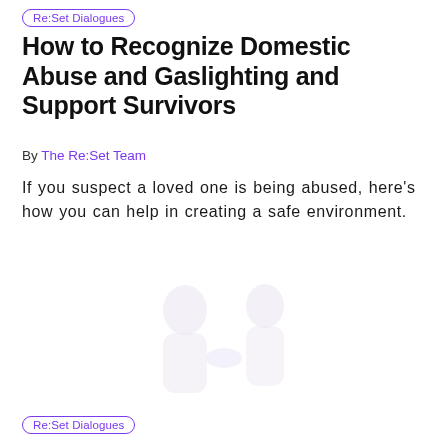Re:Set Dialogues
How to Recognize Domestic Abuse and Gaslighting and Support Survivors
By The Re:Set Team
If you suspect a loved one is being abused, here’s how you can help in creating a safe environment.
[Figure (photo): Faded/watermarked background image, mostly white with very light gray silhouettes of two figures]
Re:Set Dialogues